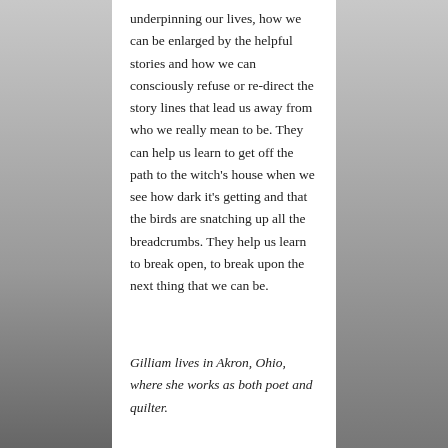underpinning our lives, how we can be enlarged by the helpful stories and how we can consciously refuse or re-direct the story lines that lead us away from who we really mean to be. They can help us learn to get off the path to the witch's house when we see how dark it's getting and that the birds are snatching up all the breadcrumbs. They help us learn to break open, to break upon the next thing that we can be.
Gilliam lives in Akron, Ohio, where she works as both poet and quilter.